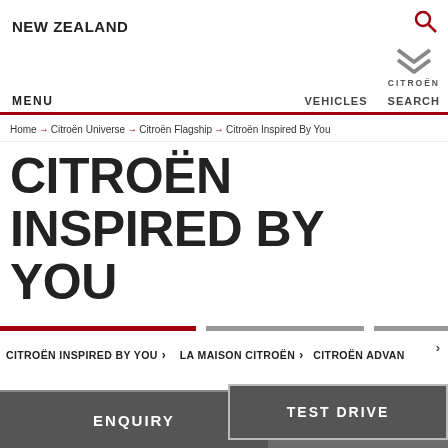NEW ZEALAND | MENU | VEHICLES | SEARCH | CITROËN
Home → Citroën Universe → Citroën Flagship → Citroën Inspired By You
CITROËN INSPIRED BY YOU
CITROËN INSPIRED BY YOU > | LA MAISON CITROËN > | CITROËN ADVAN
[Figure (screenshot): Gray placeholder image area for Citroën Inspired By You content]
ENQUIRY
TEST DRIVE